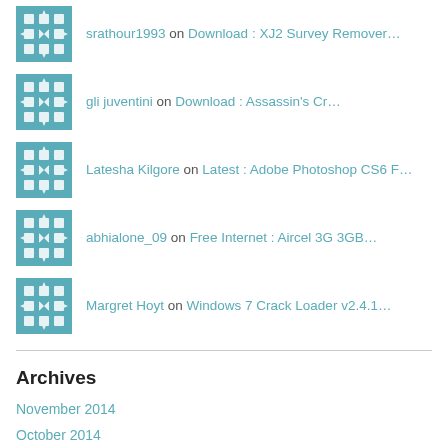srathour1993 on Download : XJ2 Survey Remover…
gli juventini on Download : Assassin's Cr…
Latesha Kilgore on Latest : Adobe Photoshop CS6 F…
abhialone_09 on Free Internet : Aircel 3G 3GB…
Margret Hoyt on Windows 7 Crack Loader v2.4.1…
Archives
November 2014
October 2014
September 2014
August 2014